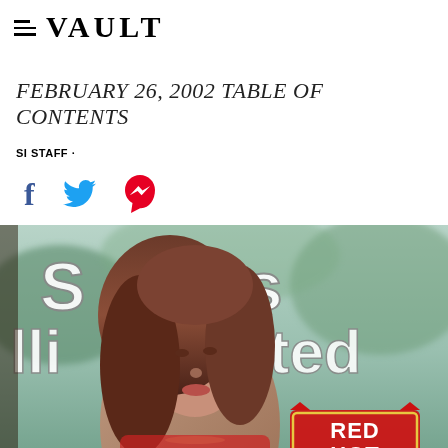VAULT
FEBRUARY 26, 2002 TABLE OF CONTENTS
SI STAFF ·
[Figure (other): Social media share icons: Facebook (blue f), Twitter (blue bird), Pinterest (red P)]
[Figure (photo): Sports Illustrated Swimsuit Issue magazine cover from February 26, 2002, showing a woman with long brown curly hair against a tropical background, with 'Sports Illustrated' text and 'RED HOT' badge visible]